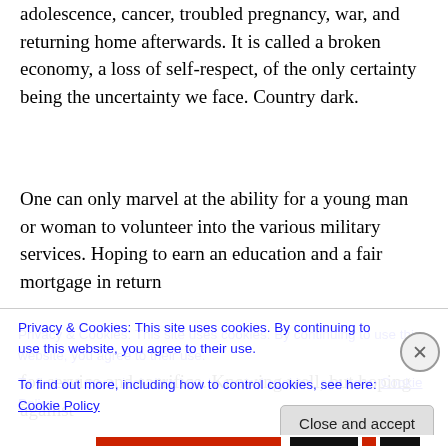adolescence, cancer, troubled pregnancy, war, and returning home afterwards. It is called a broken economy, a loss of self-respect, of the only certainty being the uncertainty we face. Country dark.
One can only marvel at the ability for a young man or woman to volunteer into the various military services. Hoping to earn an education and a fair mortgage in return for service and sacrifice. Knowing well, but hoping against
Privacy & Cookies: This site uses cookies. By continuing to use this website, you agree to their use.
To find out more, including how to control cookies, see here: Cookie Policy
Close and accept